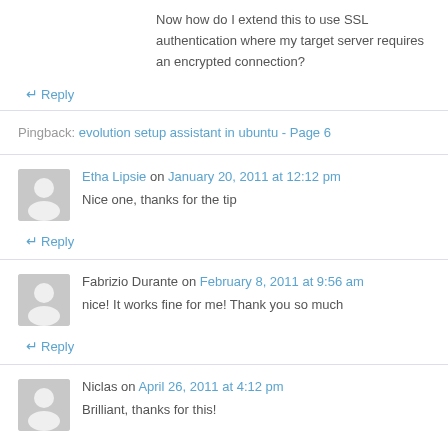Now how do I extend this to use SSL authentication where my target server requires an encrypted connection?
↵ Reply
Pingback: evolution setup assistant in ubuntu - Page 6
Etha Lipsie on January 20, 2011 at 12:12 pm
Nice one, thanks for the tip
↵ Reply
Fabrizio Durante on February 8, 2011 at 9:56 am
nice! It works fine for me! Thank you so much
↵ Reply
Niclas on April 26, 2011 at 4:12 pm
Brilliant, thanks for this!